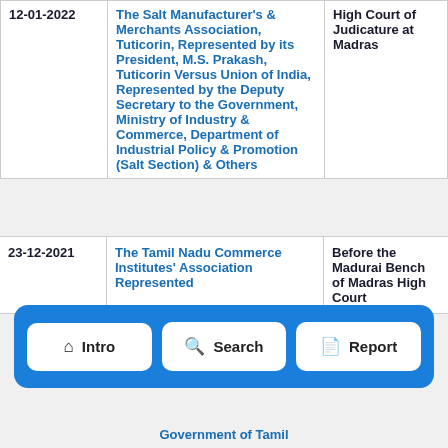| Date | Case | Court |
| --- | --- | --- |
| 12-01-2022 | The Salt Manufacturer's & Merchants Association, Tuticorin, Represented by its President, M.S. Prakash, Tuticorin Versus Union of India, Represented by the Deputy Secretary to the Government, Ministry of Industry & Commerce, Department of Industrial Policy & Promotion (Salt Section) & Others | High Court of Judicature at Madras |
| 23-12-2021 | The Tamil Nadu Commerce Institutes' Association Represented by its Treasurer, Tri… | Before the Madurai Bench of Madras High Court |
[Figure (other): Navigation bar with three buttons: Intro (home icon), Search (magnifying glass icon), Report (document icon)]
Government of Tamil